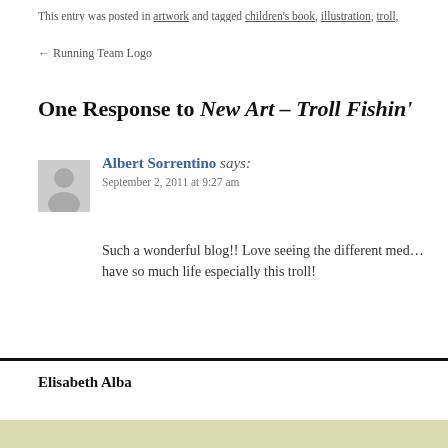This entry was posted in artwork and tagged children's book, illustration, troll,
← Running Team Logo
One Response to New Art – Troll Fishin'
Albert Sorrentino says:
September 2, 2011 at 9:27 am
Such a wonderful blog!! Love seeing the different med… have so much life especially this troll!
Elisabeth Alba